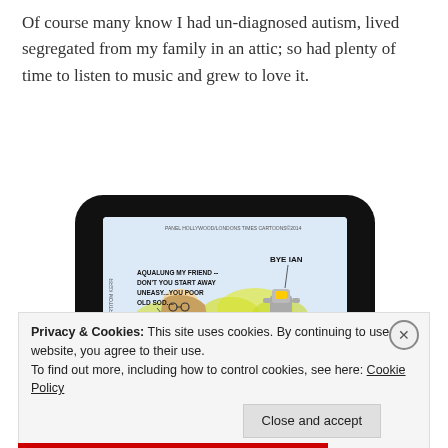Of course many know I had un-diagnosed autism, lived segregated from my family in an attic; so had plenty of time to listen to music and grew to love it.
[Figure (illustration): A black pillow with a cartoon printed on it. The cartoon shows a long-haired person and a small robot/astronaut figure. Text on cartoon reads: 'AQUALUNG MY FRIEND -- DON'T YOU START AWAY UNEASY...YOU POOR OLD SOD....' and 'BYE IAN'. Header reads 'PANEL HOLLYWOOD/LONDONS TIMES CARTOONS©2014'. Side text reads 'TRICK LONDON ART/TOM KERR'.]
Privacy & Cookies: This site uses cookies. By continuing to use this website, you agree to their use.
To find out more, including how to control cookies, see here: Cookie Policy